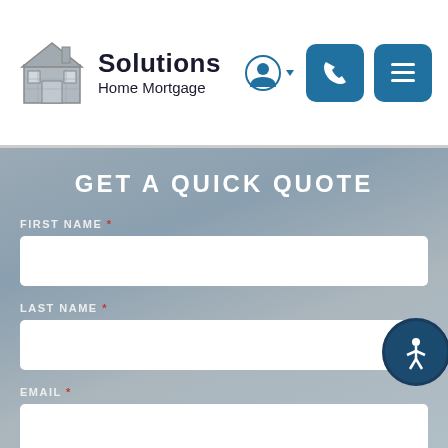[Figure (logo): Solutions Home Mortgage logo with house icon]
GET A QUICK QUOTE
FIRST NAME *
LAST NAME *
EMAIL *
HOME PHONE *